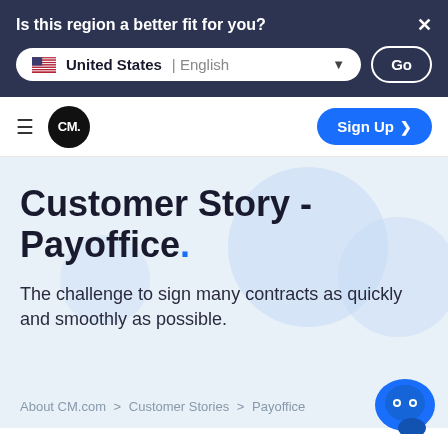Is this region a better fit for you?
United States | English
Go
[Figure (logo): CM.com logo - black circle with white CM. text]
Sign Up >
Customer Story - Payoffice.
The challenge to sign many contracts as quickly and smoothly as possible.
About CM.com > Customer Stories > Payoffice